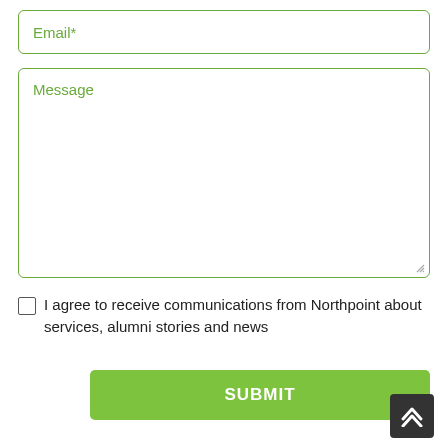Email*
Message
I agree to receive communications from Northpoint about services, alumni stories and news
SUBMIT